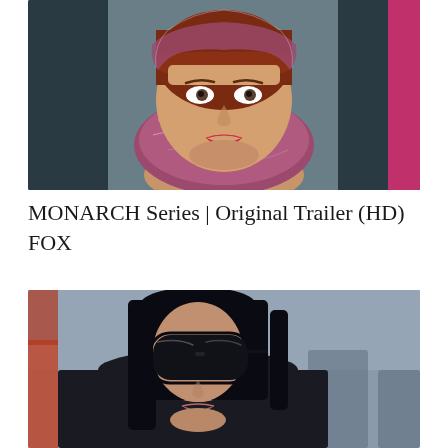[Figure (photo): Close-up photo of a woman with red hair wearing a floral/patterned silk headscarf and bright red lipstick, seated in what appears to be a car with dark leather seats. She looks upward with a surprised or concerned expression. Background includes a glimpse of pink color.]
MONARCH Series | Original Trailer (HD) FOX
[Figure (photo): Photo of a woman with long dark hair wearing large dark oversized sunglasses and a black outfit, photographed from a slight low angle. She appears to be outdoors or in a public setting with blurred background figures.]